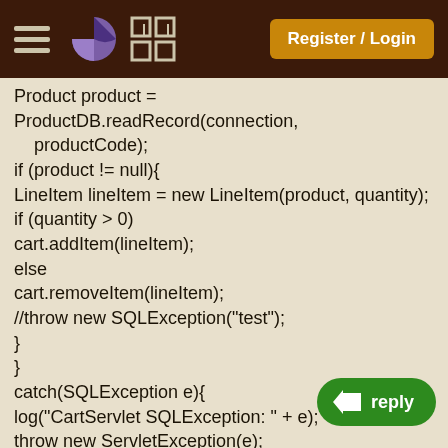Register / Login
Product product = ProductDB.readRecord(connection,
    productCode);
if (product != null){
LineItem lineItem = new LineItem(product, quantity);
if (quantity > 0)
cart.addItem(lineItem);
else
cart.removeItem(lineItem);
//throw new SQLException("test");
}
}
catch(SQLException e){
log("CartServlet SQLException: " + e);
throw new ServletException(e);
}
finally{
connectionPool.freeConnection(connection);
}
session.setAttribute("cart", cart);